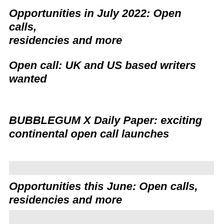Opportunities in July 2022: Open calls, residencies and more
Open call: UK and US based writers wanted
BUBBLEGUM X Daily Paper: exciting continental open call launches
Opportunities this June: Open calls, residencies and more